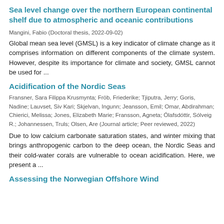Sea level change over the northern European continental shelf due to atmospheric and oceanic contributions
Mangini, Fabio (Doctoral thesis, 2022-09-02)
Global mean sea level (GMSL) is a key indicator of climate change as it comprises information on different components of the climate system. However, despite its importance for climate and society, GMSL cannot be used for ...
Acidification of the Nordic Seas
Fransner, Sara Filippa Krusmynta; Fröb, Friederike; Tjiputra, Jerry; Goris, Nadine; Lauvset, Siv Kari; Skjelvan, Ingunn; Jeansson, Emil; Omar, Abdirahman; Chierici, Melissa; Jones, Elizabeth Marie; Fransson, Agneta; Ólafsdóttir, Sólveig R.; Johannessen, Truls; Olsen, Are (Journal article; Peer reviewed, 2022)
Due to low calcium carbonate saturation states, and winter mixing that brings anthropogenic carbon to the deep ocean, the Nordic Seas and their cold-water corals are vulnerable to ocean acidification. Here, we present a ...
Assessing the Norwegian Offshore Wind